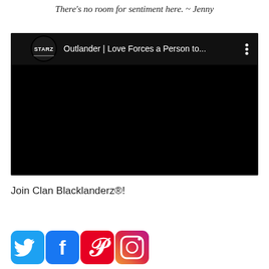There's no room for sentiment here. ~ Jenny
[Figure (screenshot): YouTube-style embedded video player with STARZ channel logo, title 'Outlander | Love Forces a Person to...' and a black video frame]
Join Clan Blacklanderz®!
[Figure (infographic): Social media icons row: Twitter (blue bird), Facebook (blue f), Pinterest (red P), Instagram (gradient camera)]